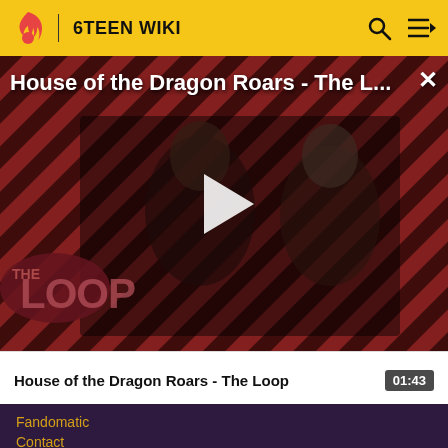6TEEN WIKI
[Figure (screenshot): Video thumbnail for 'House of the Dragon Roars - The Loop' showing two characters in medieval fantasy costumes against a diagonal red and black striped background with 'THE LOOP' text overlay and a white play button triangle in the center]
House of the Dragon Roars - The L...
House of the Dragon Roars - The Loop
01:43
Fandomatic
Contact